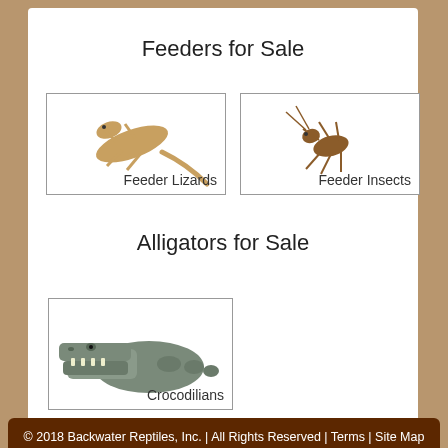Feeders for Sale
[Figure (photo): Feeder Lizards - small lizard on white background]
[Figure (photo): Feeder Insects - cricket on white background]
Alligators for Sale
[Figure (photo): Crocodilians - alligator with open mouth]
© 2018 Backwater Reptiles, Inc. | All Rights Reserved | Terms | Site Map | Privacy Policy
Lizards for Sale | Snakes for Sale | Turtles for Sale | Tortoises for Sale | Salamanders for Sale
Newts for Sale | Frogs for Sale | Toads for Sale | Tarantulas for